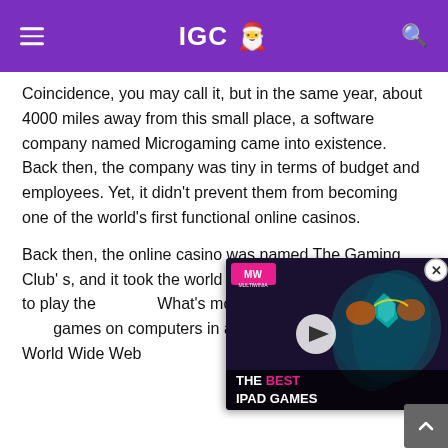IGC 🎅
Coincidence, you may call it, but in the same year, about 4000 miles away from this small place, a software company named Microgaming came into existence. Back then, the company was tiny in terms of budget and employees. Yet, it didn't prevent them from becoming one of the world's first functional online casinos.
Back then, the online casino was named The Gaming Club' s, and it took the world b... players the chance to play the ... What's more interesting is that... games on computers in a peri... to grasp the World Wide Web...
[Figure (screenshot): Video ad overlay showing 'THE BEST IPAD GAMES' with MW logo in pink, play button, and gaming character in background]
How The Gaming Club Website  Looked in January 1998: